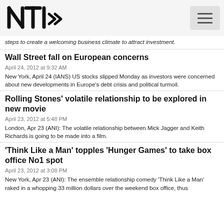NTI logo and navigation menu
steps to create a welcoming business climate to attract investment.
Wall Street fall on European concerns
April 24, 2012 at 9:32 AM
New York, April 24 (IANS) US stocks slipped Monday as investors were concerned about new developments in Europe's debt crisis and political turmoil.
Rolling Stones' volatile relationship to be explored in new movie
April 23, 2012 at 5:48 PM
London, Apr 23 (ANI): The volatile relationship between Mick Jagger and Keith Richards is going to be made into a film.
'Think Like a Man' topples 'Hunger Games' to take box office No1 spot
April 23, 2012 at 3:08 PM
New York, Apr 23 (ANI): The ensemble relationship comedy 'Think Like a Man' raked in a whopping 33 million dollars over the weekend box office, thus